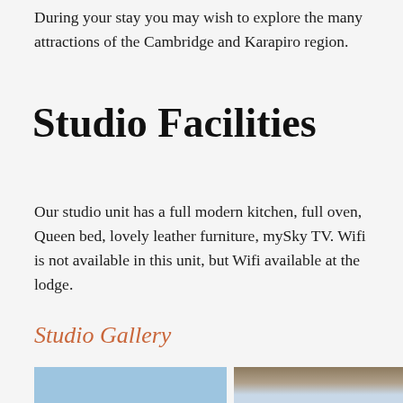During your stay you may wish to explore the many attractions of the Cambridge and Karapiro region.
Studio Facilities
Our studio unit has a full modern kitchen, full oven, Queen bed, lovely leather furniture, mySky TV. Wifi is not available in this unit, but Wifi available at the lodge.
Studio Gallery
[Figure (photo): Two gallery photos side by side — left shows a blue sky scene, right shows an architectural detail with sky background]